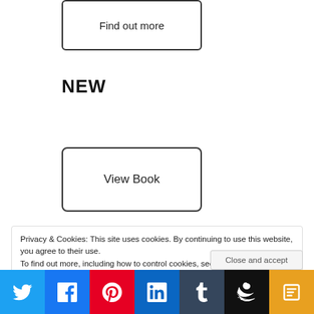Find out more
NEW
View Book
Privacy & Cookies: This site uses cookies. By continuing to use this website, you agree to their use.
To find out more, including how to control cookies, see here: Cookie Policy
Close and accept
Twitter | Facebook | Pinterest | LinkedIn | Tumblr | Amazon | Readout